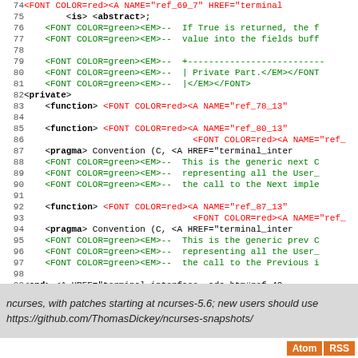Source code listing lines 74-100, HTML/Ada source file with line numbers
ncurses, with patches starting at ncurses-5.6; new users should use
https://github.com/ThomasDickey/ncurses-snapshots/
Atom  RSS